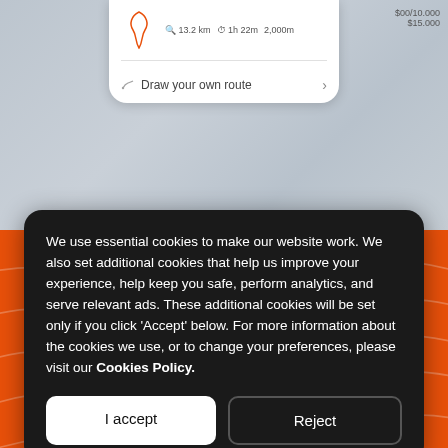[Figure (screenshot): Mobile app screenshot showing a route preview card with route shape, stats (13.2 km, 1h 22m, 2,000m), and 'Draw your own route' option, displayed over a map background]
[Figure (screenshot): Orange background section with topographic contour lines, partially showing website text behind the cookie consent modal]
We use essential cookies to make our website work. We also set additional cookies that help us improve your experience, help keep you safe, perform analytics, and serve relevant ads. These additional cookies will be set only if you click 'Accept' below. For more information about the cookies we use, or to change your preferences, please visit our Cookies Policy.